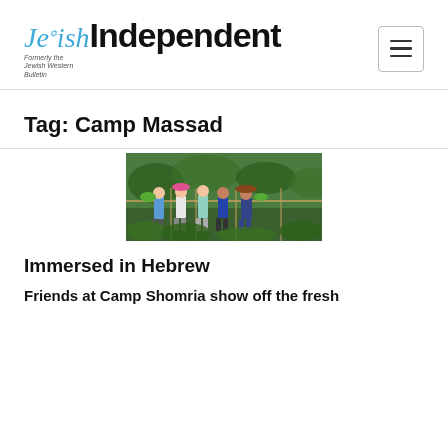Jewish Independent
Tag: Camp Massad
[Figure (photo): Group of children standing outdoors at camp, holding plants/vegetables, surrounded by greenery]
Immersed in Hebrew
Friends at Camp Shomria show off the fresh